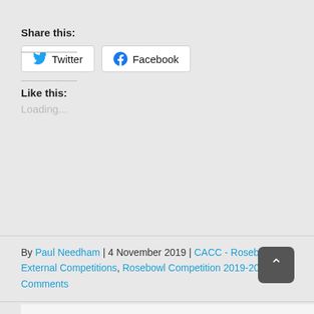Share this:
Twitter  Facebook
Like this:
Loading...
By Paul Needham | 4 November 2019 | CACC - Rosebowl, External Competitions, Rosebowl Competition 2019-20 | 0 Comments
Share This Story, Choose Your Platform!